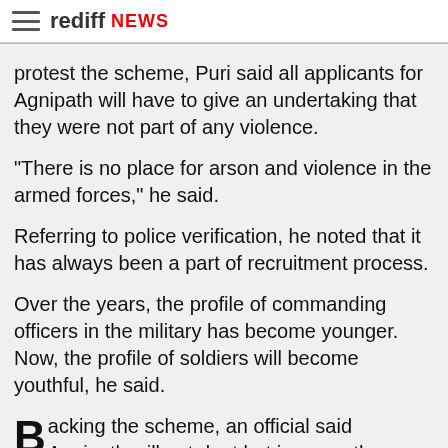rediff NEWS
protest the scheme, Puri said all applicants for Agnipath will have to give an undertaking that they were not part of any violence.
"There is no place for arson and violence in the armed forces," he said.
Referring to police verification, he noted that it has always been a part of recruitment process.
Over the years, the profile of commanding officers in the military has become younger. Now, the profile of soldiers will become youthful, he said.
Backing the scheme, an official said Agnipath will not dent but improve the army's combat capabilities.
Protests against the scheme, which was unveiled on June 12, have ebbed away in the last few days.
Officials said at the presser that Agniveers, a term for those recruited under the scheme, will be eligible for